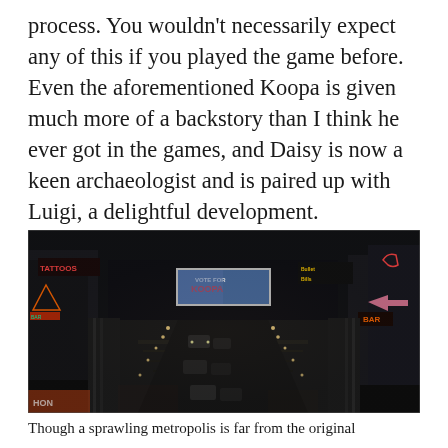process. You wouldn't necessarily expect any of this if you played the game before. Even the aforementioned Koopa is given much more of a backstory than I think he ever got in the games, and Daisy is now a keen archaeologist and is paired up with Luigi, a delightful development.
[Figure (photo): A dark, rain-slicked urban street scene from the Super Mario Bros. movie set. Neon signs and billboards are visible, including a 'VOTE FOR KOOPA' campaign poster and various illuminated shop signs. Cars line the street below, and the city has a gritty, dystopian atmosphere at night.]
Though a sprawling metropolis is far from the original